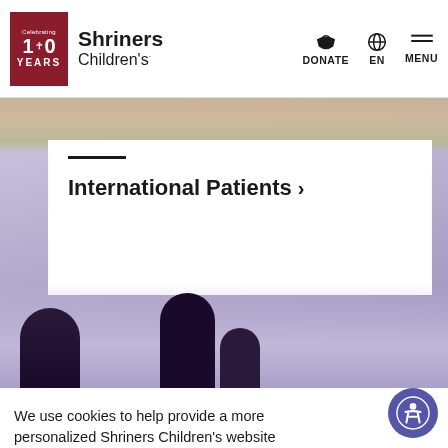[Figure (screenshot): Shriners Children's website header with logo (Celebrating 100 Years), navigation with DONATE, EN, MENU options, hero image area showing medical/care scene with purple/lavender background, white card overlay with 'International Patients >' link, and cookie consent banner at bottom with accessibility button.]
Shriners Children's — Celebrating 100 Years — DONATE EN MENU
International Patients >
We use cookies to help provide a more personalized Shriners Children's website experience, providing relevant content for you, and performance analytics for us. To learn more, please visit our Terms of Use page.